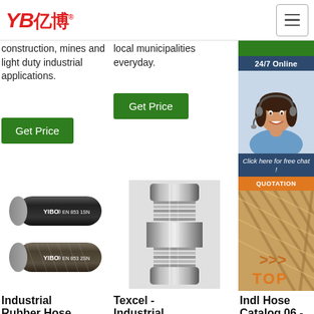YB亿博 logo and navigation
construction, mines and light duty industrial applications.
local municipalities everyday.
Get Price
Get Price
24/7 Online
Click here for free chat !
QUOTATION
[Figure (photo): Two black rubber hoses labeled YIBO EN 853 1SN and YIBO EN 853 2SN]
[Figure (photo): Close-up of a metal hose fitting / coupler, cylindrical steel crimped end]
[Figure (photo): Braided metallic industrial hose with TOP label and orange text]
[Figure (photo): Customer service agent woman with headset smiling, 24/7 Online chat widget]
Industrial Rubber Hose
Texcel - Industrial
Indl Hose Catalog 06 -